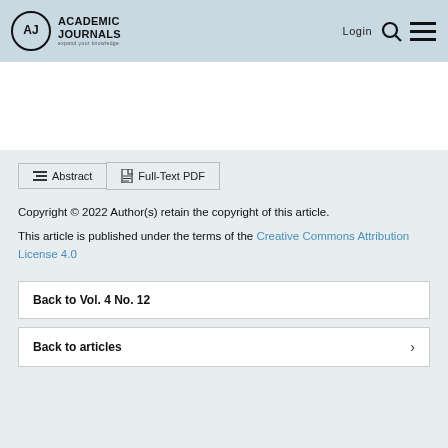Academic Journals — Login
Abstract | Full-Text PDF
Copyright © 2022 Author(s) retain the copyright of this article.
This article is published under the terms of the Creative Commons Attribution License 4.0
Back to Vol. 4 No. 12
Back to articles